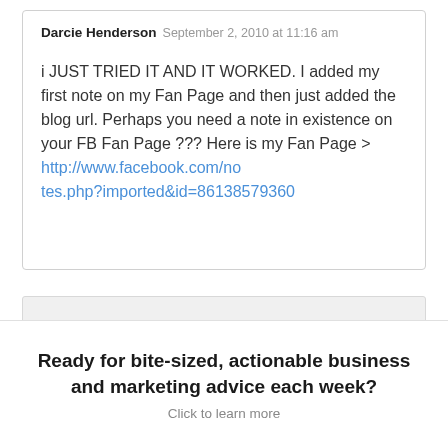Darcie Henderson — September 2, 2010 at 11:16 am
i JUST TRIED IT AND IT WORKED. I added my first note on my Fan Page and then just added the blog url. Perhaps you need a note in existence on your FB Fan Page ??? Here is my Fan Page > http://www.facebook.com/notes.php?imported&id=86138579360
Comments are closed.
Ready for bite-sized, actionable business and marketing advice each week?
Click to learn more